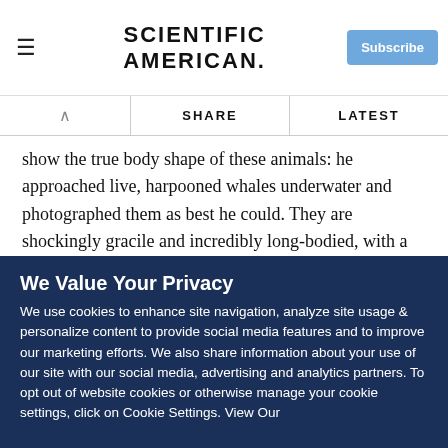SCIENTIFIC AMERICAN
show the true body shape of these animals: he approached live, harpooned whales underwater and photographed them as best he could. They are shockingly gracile and incredibly long-bodied, with a shape that (when seen in dorsal view) has been likened to that of a champagne flute. At least some people had known this for a while: Roy Chapman Andrews, for example, wrote in 1916 of the Fin whale's "slender body … built like a racing yacht". Basing their reconstructions on beached
We Value Your Privacy
We use cookies to enhance site navigation, analyze site usage & personalize content to provide social media features and to improve our marketing efforts. We also share information about your use of our site with our social media, advertising and analytics partners. To opt out of website cookies or otherwise manage your cookie settings, click on Cookie Settings. View Our